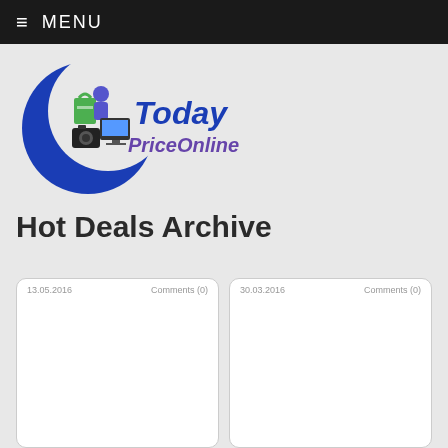≡ MENU
[Figure (logo): TodayPriceOnline logo with blue crescent moon, shopping bags, computer, camera icons, and stylized text 'Today PriceOnline']
Hot Deals Archive
13.05.2016   Comments (0)
30.03.2016   Comments (0)